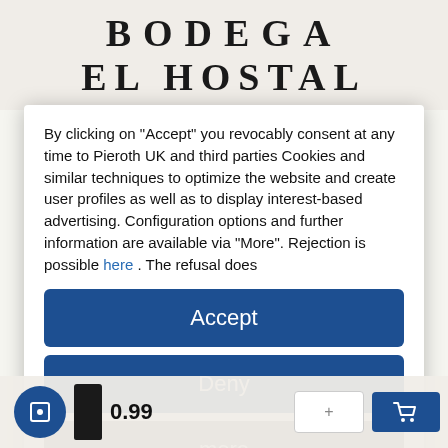[Figure (logo): BODEGA EL HOSTAL logo text in large serif bold font on beige/cream background]
By clicking on "Accept" you revocably consent at any time to Pieroth UK and third parties Cookies and similar techniques to optimize the website and create user profiles as well as to display interest-based advertising. Configuration options and further information are available via "More". Rejection is possible here . The refusal does
Accept
Deny
more
Powered by  usercentrics  &  TRUSTED SHOPS
0.99